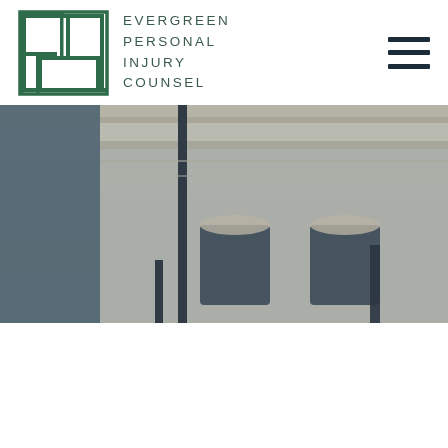EVERGREEN PERSONAL INJURY COUNSEL
[Figure (photo): Exterior of a classical courthouse building with ornate white stone facade, columns, and decorative architectural details. A street lamp and metal barriers are visible in the foreground. The image has a dark overlay tint.]